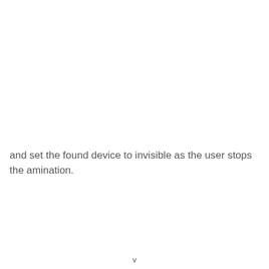and set the found device to invisible as the user stops the amination.
v